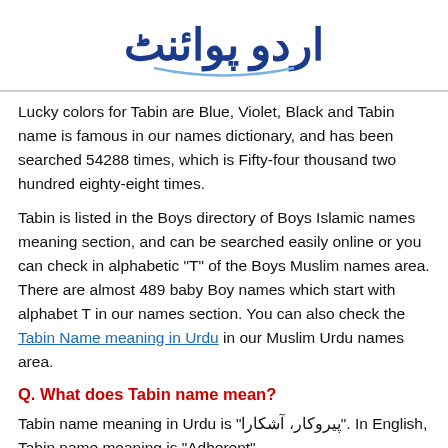اردو پوائنٹ
Lucky colors for Tabin are Blue, Violet, Black and Tabin name is famous in our names dictionary, and has been searched 54288 times, which is Fifty-four thousand two hundred eighty-eight times.
Tabin is listed in the Boys directory of Boys Islamic names meaning section, and can be searched easily online or you can check in alphabetic "T" of the Boys Muslim names area. There are almost 489 baby Boy names which start with alphabet T in our names section. You can also check the Tabin Name meaning in Urdu in our Muslim Urdu names area.
Q. What does Tabin name mean?
Tabin name meaning in Urdu is "پیروکار، آشکارا". In English, Tabin name meaning is "Adherent".
Q. What is the Lucky Number of Tabin?